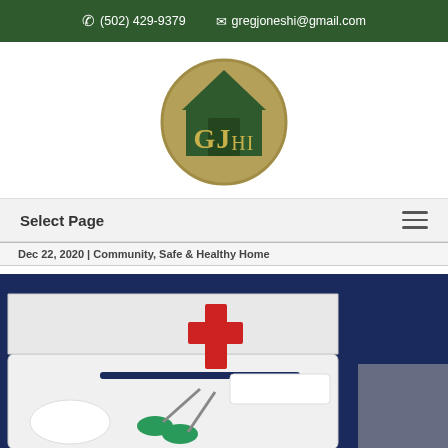✆ (502) 429-9379   ✉ gregjoneshi@gmail.com
[Figure (logo): GJhi home inspection company logo — circular gold background with a dark green house silhouette and the letters GJhi in gold/white]
Select Page
Dec 22, 2020 | Community, Safe & Healthy Home
[Figure (photo): Open white first aid kit with a red cross symbol on the inside of the lid, containing scissors with green handles, bandages, and other medical supplies, on a blue background]